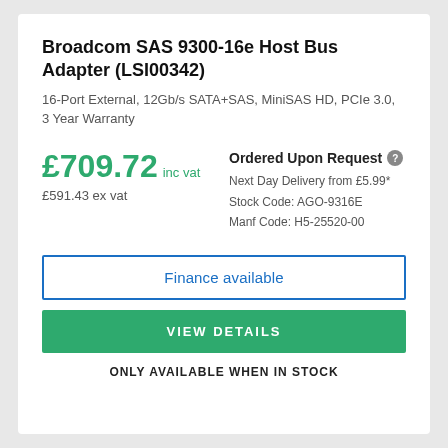Broadcom SAS 9300-16e Host Bus Adapter (LSI00342)
16-Port External, 12Gb/s SATA+SAS, MiniSAS HD, PCIe 3.0, 3 Year Warranty
£709.72 inc vat
£591.43 ex vat
Ordered Upon Request
Next Day Delivery from £5.99*
Stock Code: AGO-9316E
Manf Code: H5-25520-00
Finance available
VIEW DETAILS
ONLY AVAILABLE WHEN IN STOCK